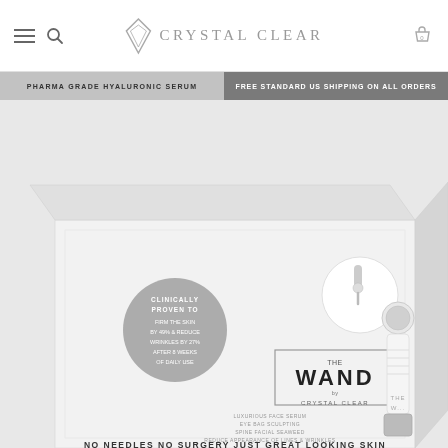Crystal Clear — navigation header with hamburger menu, search icon, Crystal Clear logo, and cart icon
PHARMA GRADE HYALURONIC SERUM
FREE STANDARD US SHIPPING ON ALL ORDERS
[Figure (photo): Product photo showing The Wand by Crystal Clear white box packaging with the wand device visible to the right. Box has a circular badge reading 'Clinically Proven To Firm The Skin By 49% & Reduce Wrinkles By 27% After 8 Weeks Of Daily Use'. Box branding reads 'THE WAND BY CRYSTAL CLEAR' and 'NO NEEDLES NO SURGERY JUST GREAT LOOKING SKIN'.]